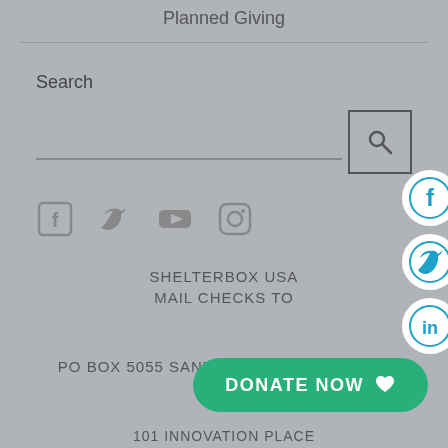Planned Giving
Search
[Figure (screenshot): Search input bar with magnifying glass button]
[Figure (infographic): Social media icons: Facebook, Twitter, YouTube, Instagram]
SHELTERBOX USA
MAIL CHECKS TO
PO BOX 5055 SANTA BARBARA, CA 93150
[Figure (infographic): Donate Now button with heart icon]
101 INNOVATION PLACE
[Figure (infographic): Right side social media bubbles: Facebook, Twitter, LinkedIn]